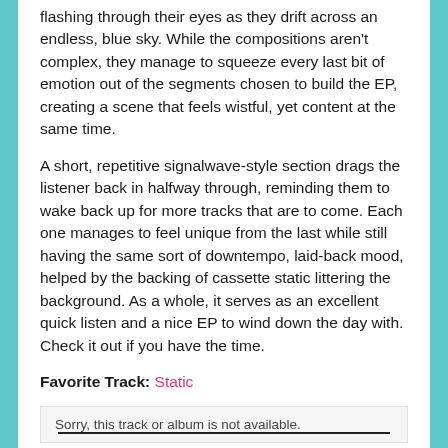flashing through their eyes as they drift across an endless, blue sky. While the compositions aren't complex, they manage to squeeze every last bit of emotion out of the segments chosen to build the EP, creating a scene that feels wistful, yet content at the same time.
A short, repetitive signalwave-style section drags the listener back in halfway through, reminding them to wake back up for more tracks that are to come. Each one manages to feel unique from the last while still having the same sort of downtempo, laid-back mood, helped by the backing of cassette static littering the background. As a whole, it serves as an excellent quick listen and a nice EP to wind down the day with. Check it out if you have the time.
Favorite Track: Static
Sorry, this track or album is not available.